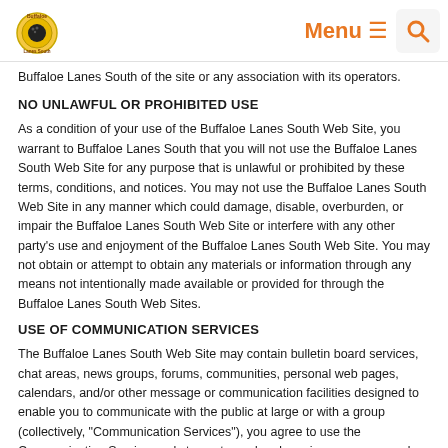Buffaloe Lanes South — Menu
Buffaloe Lanes South of the site or any association with its operators.
NO UNLAWFUL OR PROHIBITED USE
As a condition of your use of the Buffaloe Lanes South Web Site, you warrant to Buffaloe Lanes South that you will not use the Buffaloe Lanes South Web Site for any purpose that is unlawful or prohibited by these terms, conditions, and notices. You may not use the Buffaloe Lanes South Web Site in any manner which could damage, disable, overburden, or impair the Buffaloe Lanes South Web Site or interfere with any other party's use and enjoyment of the Buffaloe Lanes South Web Site. You may not obtain or attempt to obtain any materials or information through any means not intentionally made available or provided for through the Buffaloe Lanes South Web Sites.
USE OF COMMUNICATION SERVICES
The Buffaloe Lanes South Web Site may contain bulletin board services, chat areas, news groups, forums, communities, personal web pages, calendars, and/or other message or communication facilities designed to enable you to communicate with the public at large or with a group (collectively, "Communication Services"), you agree to use the Communication Services only to post, send and receive messages and material that are proper and related to the particular Communication Service. By way of example, and not as a limitation, you agree that when using a Communication Service, you will